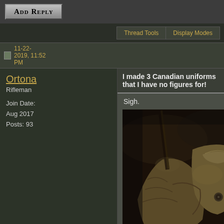Add Reply
Thread Tools  Display Modes
11-22-2019, 11:52 PM
Ortona
Rifleman
Join Date: Aug 2017
Posts: 93
I made 3 Canadian uniforms that I have no figures for!
Sigh.
[Figure (photo): Close-up photo of miniature World War II Canadian military uniforms/figures, showing olive drab wool fabric, buttons, rank insignia with red detail, and a rifle, dark atmospheric background.]